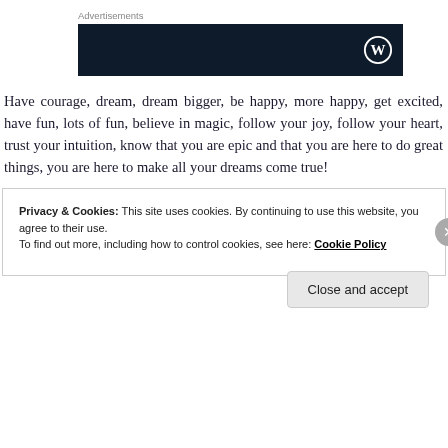Advertisements
[Figure (other): Dark banner advertisement with WordPress logo on the right side]
Have courage, dream, dream bigger, be happy, more happy, get excited, have fun, lots of fun, believe in magic, follow your joy, follow your heart, trust your intuition, know that you are epic and that you are here to do great things, you are here to make all your dreams come true!
Privacy & Cookies: This site uses cookies. By continuing to use this website, you agree to their use.
To find out more, including how to control cookies, see here: Cookie Policy
Close and accept